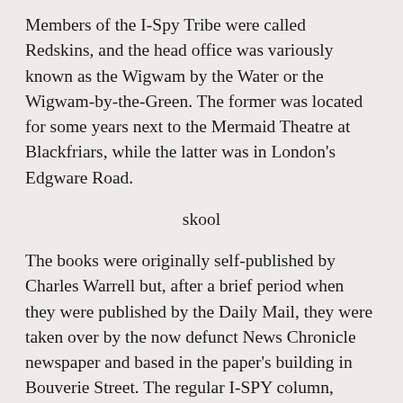Members of the I-Spy Tribe were called Redskins, and the head office was variously known as the Wigwam by the Water or the Wigwam-by-the-Green. The former was located for some years next to the Mermaid Theatre at Blackfriars, while the latter was in London's Edgware Road.
skool
The books were originally self-published by Charles Warrell but, after a brief period when they were published by the Daily Mail, they were taken over by the now defunct News Chronicle newspaper and based in the paper's building in Bouverie Street. The regular I-SPY column, which appeared in the News Chronicle, reverted to the Daily Mail when the News Chronicle ceased publication, and continued to appear until the late 1980s The books have had various